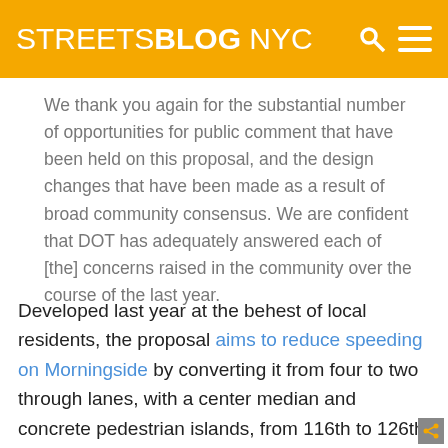STREETSBLOG NYC
We thank you again for the substantial number of opportunities for public comment that have been held on this proposal, and the design changes that have been made as a result of broad community consensus. We are confident that DOT has adequately answered each of [the] concerns raised in the community over the course of the last year.
Developed last year at the behest of local residents, the proposal aims to reduce speeding on Morningside by converting it from four to two through lanes, with a center median and concrete pedestrian islands, from 116th to 126th Street. It was endorsed by Community Board 9 in November, but CB 10 members